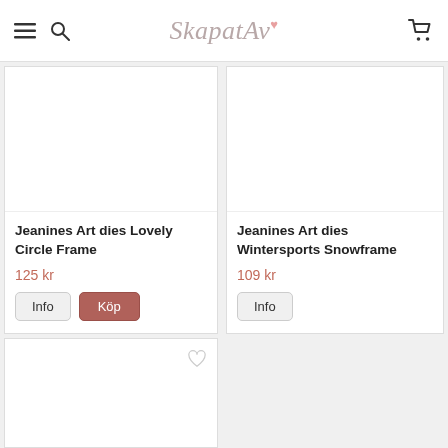SkapatAv
[Figure (photo): Product image area for Jeanines Art dies Lovely Circle Frame (white/empty)]
Jeanines Art dies Lovely Circle Frame
125 kr
[Figure (photo): Product image area for Jeanines Art dies Wintersports Snowframe (white/empty)]
Jeanines Art dies Wintersports Snowframe
109 kr
[Figure (photo): Third product card partially visible at bottom, image area only]